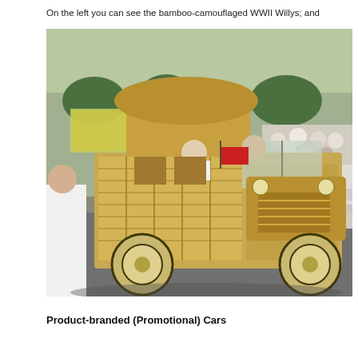On the left you can see the bamboo-camouflaged WWII Willys; and
[Figure (photo): A bamboo-covered vehicle resembling a decorated jeep or truck in a street parade, surrounded by onlookers on both sides of the road. The vehicle is fully covered in bamboo and wicker material, with people seated inside it.]
Product-branded (Promotional) Cars